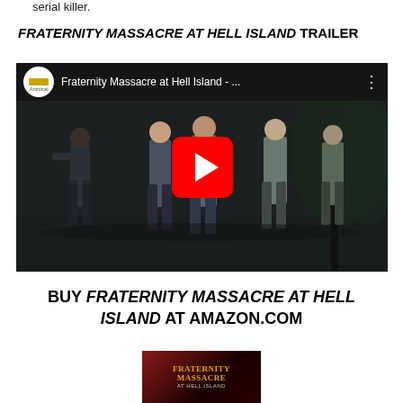serial killer.
FRATERNITY MASSACRE AT HELL ISLAND TRAILER
[Figure (screenshot): YouTube video embed showing a dark night scene with several people. Ariztical channel logo and title 'Fraternity Massacre at Hell Island - ...' visible in top bar with a red YouTube play button overlay in the center.]
BUY FRATERNITY MASSACRE AT HELL ISLAND AT AMAZON.COM
[Figure (photo): Movie poster thumbnail for Fraternity Massacre at Hell Island showing the title in orange/gold text on a dark red background.]